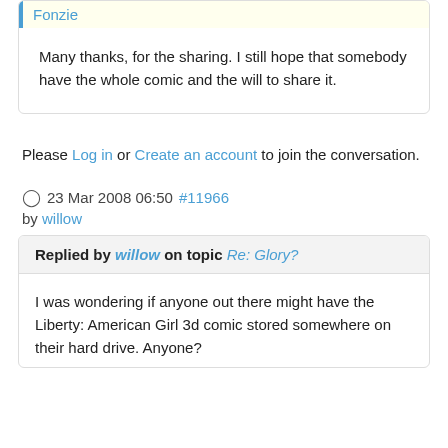Fonzie
Many thanks, for the sharing. I still hope that somebody have the whole comic and the will to share it.
Please Log in or Create an account to join the conversation.
23 Mar 2008 06:50 #11966 by willow
Replied by willow on topic Re: Glory?
I was wondering if anyone out there might have the Liberty: American Girl 3d comic stored somewhere on their hard drive. Anyone?